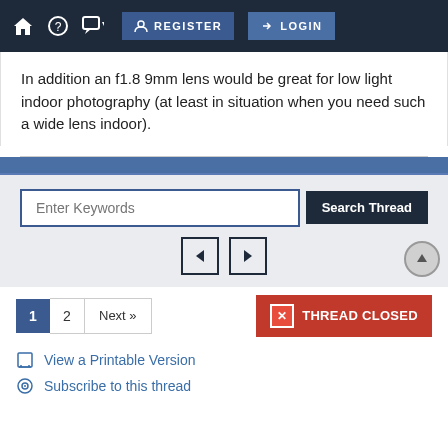REGISTER  LOGIN
In addition an f1.8 9mm lens would be great for low light indoor photography (at least in situation when you need such a wide lens indoor).
Enter Keywords
Search Thread
1  2  Next »  THREAD CLOSED
View a Printable Version
Subscribe to this thread